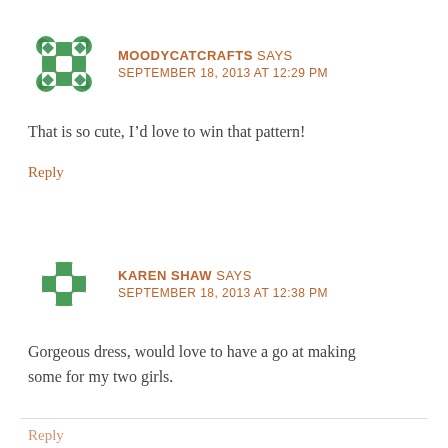[Figure (illustration): Green decorative cross/flower avatar icon for user moodycatcrafts]
MOODYCATCRAFTS SAYS
SEPTEMBER 18, 2013 AT 12:29 PM
That is so cute, I’d love to win that pattern!
Reply
[Figure (illustration): Green decorative cross/flower avatar icon for user Karen Shaw]
KAREN SHAW SAYS
SEPTEMBER 18, 2013 AT 12:38 PM
Gorgeous dress, would love to have a go at making some for my two girls.
Reply